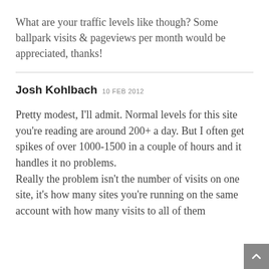What are your traffic levels like though? Some ballpark visits & pageviews per month would be appreciated, thanks!
Josh Kohlbach 10 FEB 2012
Pretty modest, I'll admit. Normal levels for this site you're reading are around 200+ a day. But I often get spikes of over 1000-1500 in a couple of hours and it handles it no problems.
Really the problem isn't the number of visits on one site, it's how many sites you're running on the same account with how many visits to all of them